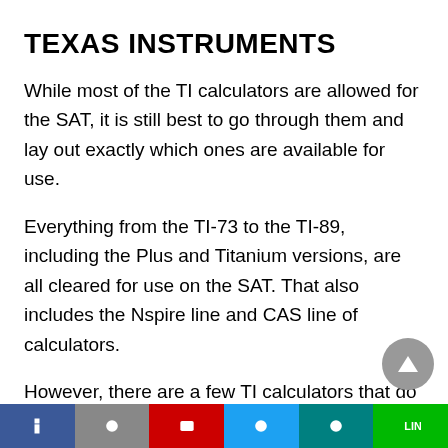TEXAS INSTRUMENTS
While most of the TI calculators are allowed for the SAT, it is still best to go through them and lay out exactly which ones are available for use.
Everything from the TI-73 to the TI-89, including the Plus and Titanium versions, are all cleared for use on the SAT. That also includes the Nspire line and CAS line of calculators.
However, there are a few TI calculators that do not meet SAT regulations. They don't allow the TI-92